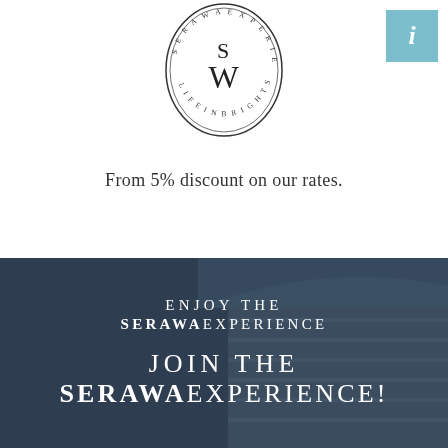[Figure (logo): SW Serawa logo — oval shaped badge with 'SW' monogram in center and text 'SERAWA EXPERIENCE LIFE IN BRIGHT SPACES' around the border]
From 5% discount on our rates.
ENJOY THE SERAWA EXPERIENCE
JOIN THE SERAWA EXPERIENCE!